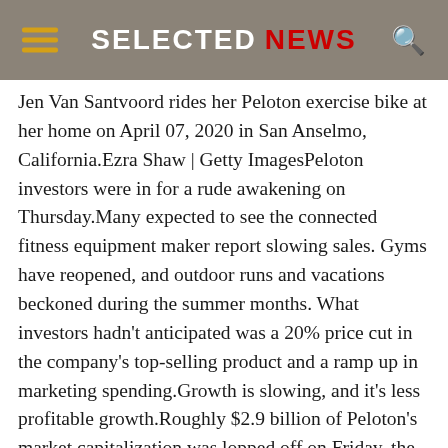SELECTED NEWS
Jen Van Santvoord rides her Peloton exercise bike at her home on April 07, 2020 in San Anselmo, California.Ezra Shaw | Getty ImagesPeloton investors were in for a rude awakening on Thursday.Many expected to see the connected fitness equipment maker report slowing sales. Gyms have reopened, and outdoor runs and vacations beckoned during the summer months. What investors hadn't anticipated was a 20% price cut in the company's top-selling product and a ramp up in marketing spending.Growth is slowing, and it's less profitable growth.Roughly $2.9 billion of Peloton's market capitalization was lopped off on Friday, the day after the pricing announcement was made and the company